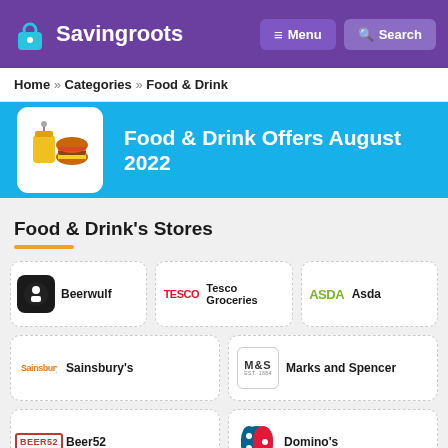Savingroots | Menu | Search
Home » Categories » Food & Drink
Food & Drink Offers August 2022
Food & Drink's Stores
Beerwulf
Tesco Groceries
Asda
Sainsbury's
Marks and Spencer
Beer52
Domino's